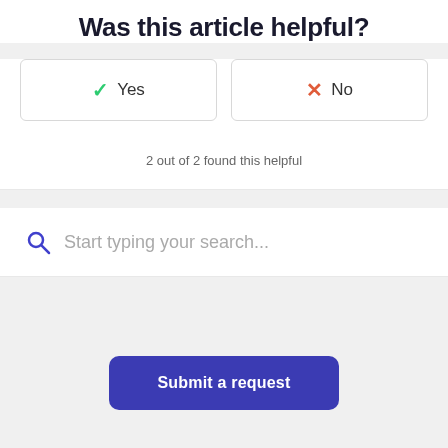Was this article helpful?
[Figure (other): Two vote buttons: Yes with green checkmark and No with red X]
2 out of 2 found this helpful
[Figure (other): Search bar with magnifying glass icon and placeholder text: Start typing your search...]
Submit a request